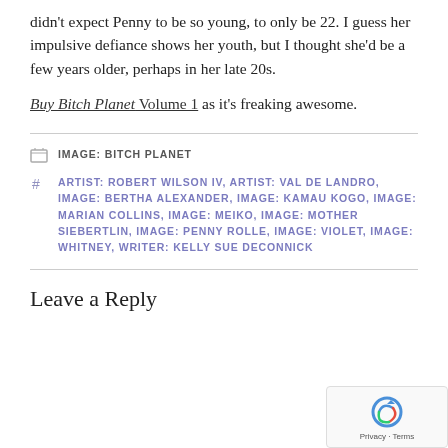didn't expect Penny to be so young, to only be 22. I guess her impulsive defiance shows her youth, but I thought she'd be a few years older, perhaps in her late 20s.
Buy Bitch Planet Volume 1 as it's freaking awesome.
IMAGE: BITCH PLANET
ARTIST: ROBERT WILSON IV, ARTIST: VAL DE LANDRO, IMAGE: BERTHA ALEXANDER, IMAGE: KAMAU KOGO, IMAGE: MARIAN COLLINS, IMAGE: MEIKO, IMAGE: MOTHER SIEBERTLIN, IMAGE: PENNY ROLLE, IMAGE: VIOLET, IMAGE: WHITNEY, WRITER: KELLY SUE DECONNICK
Leave a Reply